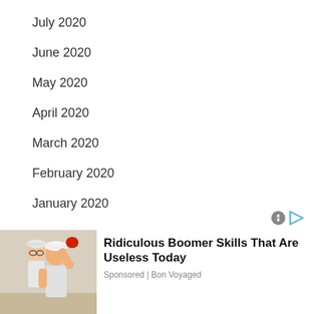July 2020
June 2020
May 2020
April 2020
March 2020
February 2020
January 2020
[Figure (photo): Advertisement with photo of two elderly people in athletic wear, one raising arm. Ad title: Ridiculous Boomer Skills That Are Useless Today. Sponsored by Bon Voyaged.]